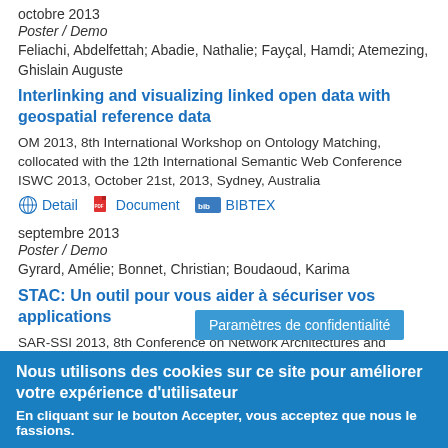octobre 2013
Poster / Demo
Feliachi, Abdelfettah; Abadie, Nathalie; Fayçal, Hamdi; Atemezing, Ghislain Auguste
Interlinking and visualizing linked open data with geospatial reference data
OM 2013, 8th International Workshop on Ontology Matching, collocated with the 12th International Semantic Web Conference ISWC 2013, October 21st, 2013, Sydney, Australia
Detail   Document   BIBTEX
septembre 2013
Poster / Demo
Gyrard, Amélie; Bonnet, Christian; Boudaoud, Karima
STAC: Un outil pour vous aider à sécuriser vos applications
SAR-SSI 2013, 8th Conference on Network Architectures and Information Systems Security, 16-18 September 2013, Mont De Marsan, France
Detail   Docu...
Paramètres de confidentialité
Nous utilisons des cookies sur ce site pour améliorer votre expérience d'utilisateur
En cliquant sur le bouton Accepter, vous acceptez que nous le fassions.